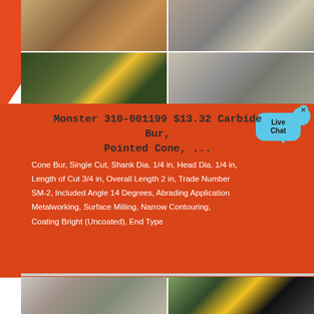[Figure (photo): Grid of four industrial/mining photos showing heavy equipment, crushers, conveyors, and quarry operations]
Monster 310-001199 $13.32 Carbide Bur, Pointed Cone, ...
Cone Bur, Single Cut, Shank Dia. 1/4 in, Head Dia. 1/4 in, Length of Cut 3/4 in, Overall Length 2 in, Trade Number SM-2, Included Angle 14 Degrees, Abrading Application Metalworking, Surface Milling, Narrow Contouring, Coating Bright (Uncoated), End Type
[Figure (photo): Two industrial machinery photos at bottom showing crushing/screening equipment]